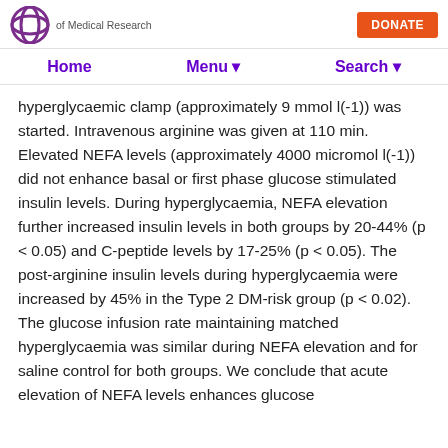of Medical Research | DONATE
Home   Menu ▾   Search ▾
hyperglycaemic clamp (approximately 9 mmol l(-1)) was started. Intravenous arginine was given at 110 min. Elevated NEFA levels (approximately 4000 micromol l(-1)) did not enhance basal or first phase glucose stimulated insulin levels. During hyperglycaemia, NEFA elevation further increased insulin levels in both groups by 20-44% (p < 0.05) and C-peptide levels by 17-25% (p < 0.05). The post-arginine insulin levels during hyperglycaemia were increased by 45% in the Type 2 DM-risk group (p < 0.02). The glucose infusion rate maintaining matched hyperglycaemia was similar during NEFA elevation and for saline control for both groups. We conclude that acute elevation of NEFA levels enhances glucose